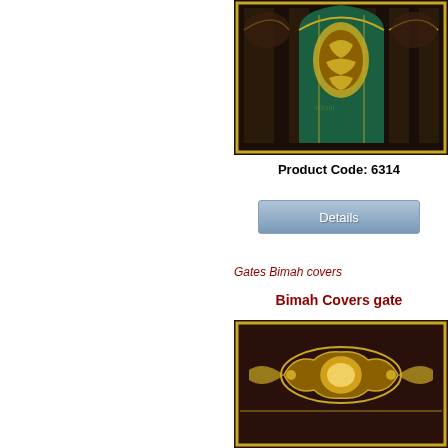[Figure (photo): Mosque/Islamic decorative panel cover with dark brown background, green arched window design with gold Arabic calligraphy and ornamental patterns]
Product Code: 6314
Details
Gates Bimah covers
Bimah Covers gate
[Figure (photo): Dark brown Bimah cover with ornate gold decorative emblem/crest in the center]